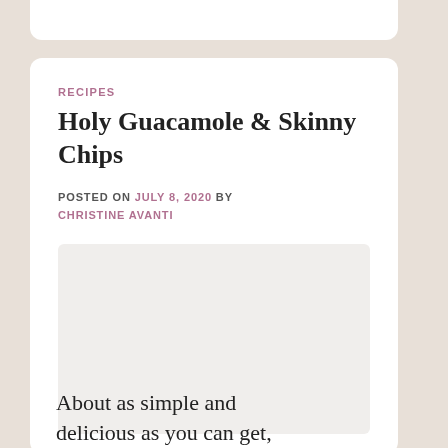RECIPES
Holy Guacamole & Skinny Chips
POSTED ON JULY 8, 2020 BY CHRISTINE AVANTI
[Figure (photo): Placeholder image area for recipe photo]
About as simple and delicious as you can get,